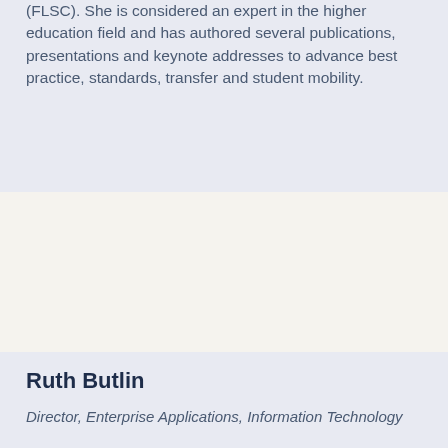(FLSC). She is considered an expert in the higher education field and has authored several publications, presentations and keynote addresses to advance best practice, standards, transfer and student mobility.
Ruth Butlin
Director, Enterprise Applications, Information Technology